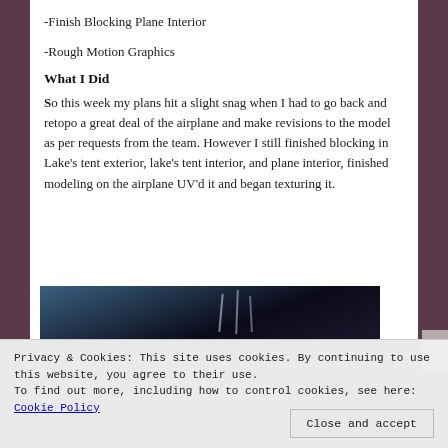-Finish Blocking Plane Interior
-Rough Motion Graphics
What I Did
So this week my plans hit a slight snag when I had to go back and retopo a great deal of the airplane and make revisions to the model as per requests from the team. However I still finished blocking in Lake's tent exterior, lake's tent interior, and plane interior, finished modeling on the airplane UV'd it and began texturing it.
[Figure (photo): Dark interior photograph showing what appears to be an airplane interior with thin vertical lines visible against a dark background]
Privacy & Cookies: This site uses cookies. By continuing to use this website, you agree to their use.
To find out more, including how to control cookies, see here: Cookie Policy
Close and accept